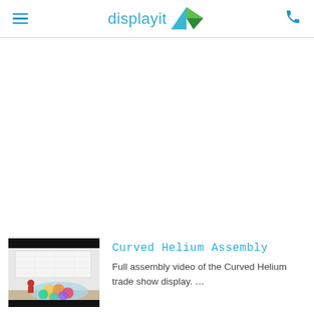displayit
Curved Helium Assembly
Full assembly video of the Curved Helium trade show display. …